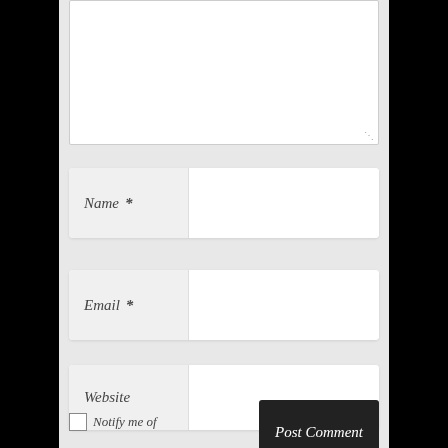[Figure (screenshot): Web comment form showing a textarea (empty, with resize handle), followed by Name (required), Email (required), and Website input fields, a 'Notify me of' checkbox, and a 'Post Comment' button.]
Name *
Email *
Website
Notify me of
Post Comment